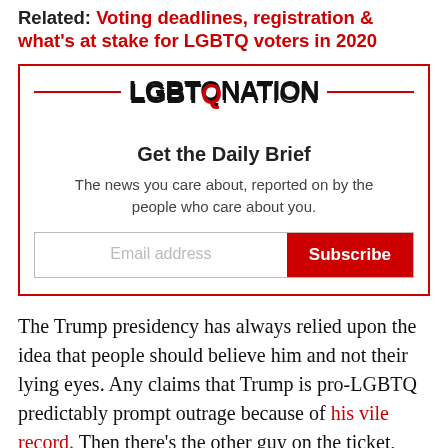Related: Voting deadlines, registration & what's at stake for LGBTQ voters in 2020
[Figure (logo): LGBTQ Nation logo with rainbow Q, flanked by red horizontal lines]
Get the Daily Brief
The news you care about, reported on by the people who care about you.
The Trump presidency has always relied upon the idea that people should believe him and not their lying eyes. Any claims that Trump is pro-LGBTQ predictably prompt outrage because of his vile record. Then there's the other guy on the ticket, Vice President Mike Pence, whom even Trump jokes